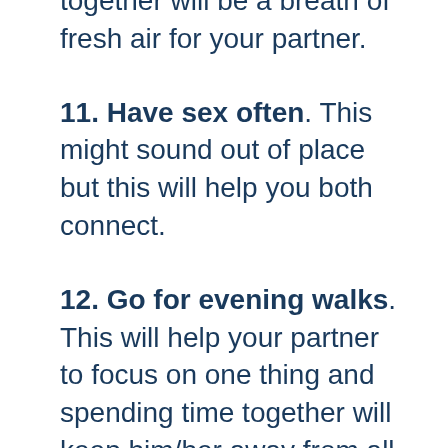together will be a breath of fresh air for your partner.
11. Have sex often. This might sound out of place but this will help you both connect.
12. Go for evening walks. This will help your partner to focus on one thing and spending time together will keep him/her away from all sorts of distractions.
13. Don't force to change your partner. Give him/her space and the time to adjust. Do not force him/her to